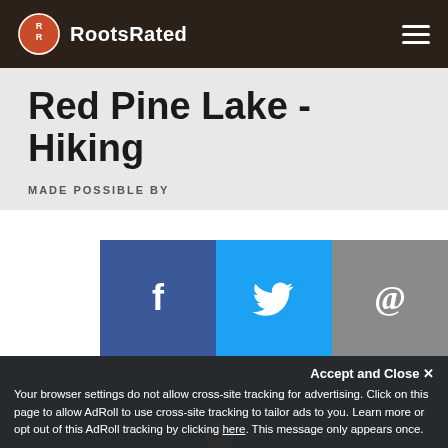RootsRated
Red Pine Lake - Hiking
MADE POSSIBLE BY
[Figure (other): Social sharing buttons: Facebook (f), Twitter bird, Email (@)]
[Figure (photo): Outdoor mountain landscape with snow-capped peaks, conifer trees, and blue sky — Red Pine Lake hiking scene]
Accept and Close ✕
Your browser settings do not allow cross-site tracking for advertising. Click on this page to allow AdRoll to use cross-site tracking to tailor ads to you. Learn more or opt out of this AdRoll tracking by clicking here. This message only appears once.